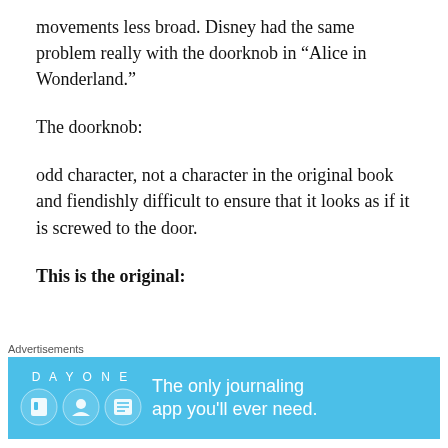movements less broad. Disney had the same problem really with the doorknob in “Alice in Wonderland.”
The doorknob:
odd character, not a character in the original book and fiendishly difficult to ensure that it looks as if it is screwed to the door.
This is the original:
[Figure (photo): Partially visible image at the bottom of the content area, cropped]
Advertisements
DAY ONE — The only journaling app you’ll ever need.